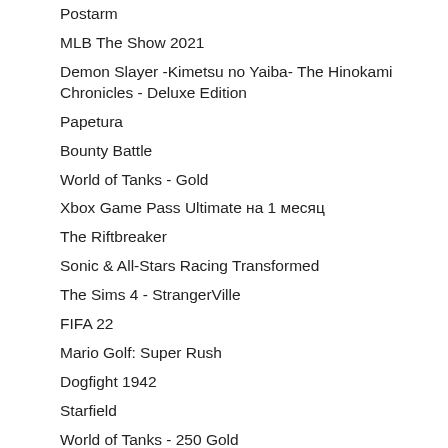Postarm
MLB The Show 2021
Demon Slayer -Kimetsu no Yaiba- The Hinokami Chronicles - Deluxe Edition
Papetura
Bounty Battle
World of Tanks - Gold
Xbox Game Pass Ultimate на 1 месяц
The Riftbreaker
Sonic & All-Stars Racing Transformed
The Sims 4 - StrangerVille
FIFA 22
Mario Golf: Super Rush
Dogfight 1942
Starfield
World of Tanks - 250 Gold
Vigil: The Longest Night
Dreamfall Chapters